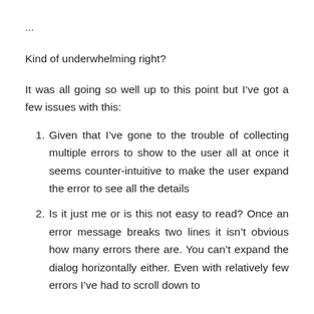...
Kind of underwhelming right?
It was all going so well up to this point but I’ve got a few issues with this:
Given that I’ve gone to the trouble of collecting multiple errors to show to the user all at once it seems counter-intuitive to make the user expand the error to see all the details
Is it just me or is this not easy to read? Once an error message breaks two lines it isn’t obvious how many errors there are. You can’t expand the dialog horizontally either. Even with relatively few errors I’ve had to scroll down to